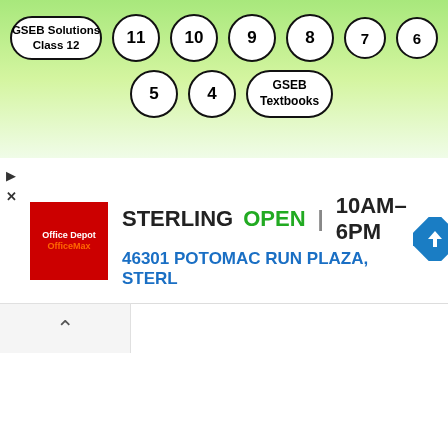[Figure (screenshot): Navigation bar with green gradient background containing pill/circle buttons: 'GSEB Solutions Class 12', '11', '10', '9', '8', '7', '6' in row 1, and '5', '4', 'GSEB Textbooks' in row 2]
[Figure (screenshot): Advertisement banner for Office Depot/OfficeMax showing STERLING store: OPEN 10AM-6PM, address 46301 POTOMAC RUN PLAZA, STERL with navigation arrow icon]